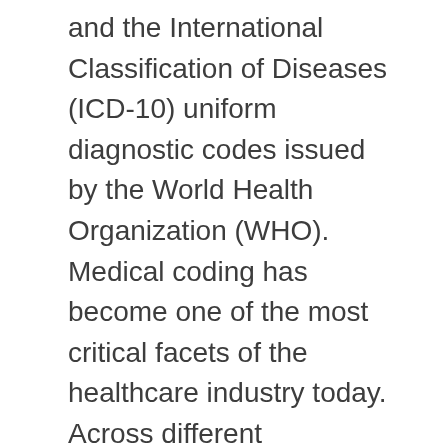and the International Classification of Diseases (ICD-10) uniform diagnostic codes issued by the World Health Organization (WHO). Medical coding has become one of the most critical facets of the healthcare industry today. Across different healthcare processes, there are over 70,000 codes in the ICD-10 standard alone. These are more formally known as the International Classification of Diseases Index (ICD). Why is medical coding a smart career choice? This documentation remains a part of the patient's medical record, so it is important for the protection of your patient … And in healthcare, there are multiple descriptions, acronyms, names, and eponyms for each